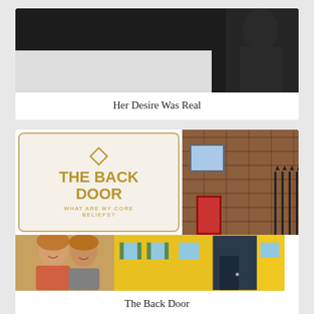[Figure (photo): Book or movie cover image with large white bold text 'DESIRE' on dark background with a figure visible]
Her Desire Was Real
[Figure (photo): Composite image: left panel shows 'THE BACK DOOR - WHAT ARE MY CORE BELIEFS?' text on beige background with gold diamond icon; right panel shows brick wall with red door and window; bottom strip shows two smiling women and colorful row of house doors]
The Back Door